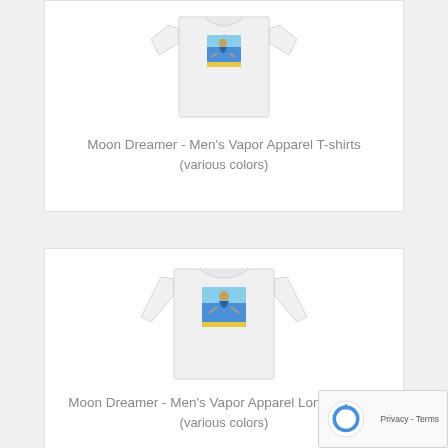[Figure (photo): White t-shirt with Moon Dreamer artwork on front]
Moon Dreamer - Men's Vapor Apparel T-shirts
(various colors)
[Figure (photo): White long sleeve shirt with Moon Dreamer artwork on front]
Moon Dreamer - Men's Vapor Apparel Long Sleeves
(various colors)
[Figure (other): reCAPTCHA widget with Privacy and Terms links]